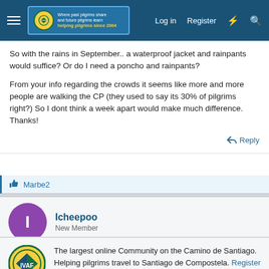The Camino Forum — Log in | Register
So with the rains in September.. a waterproof jacket and rainpants would suffice? Or do I need a poncho and rainpants?
From your info regarding the crowds it seems like more and more people are walking the CP (they used to say its 30% of pilgrims right?) So I dont think a week apart would make much difference. Thanks!
Reply
👍 Marbe2
Icheepoo
New Member
The largest online Community on the Camino de Santiago. Helping pilgrims travel to Santiago de Compostela. Register (free) or Log in to join.